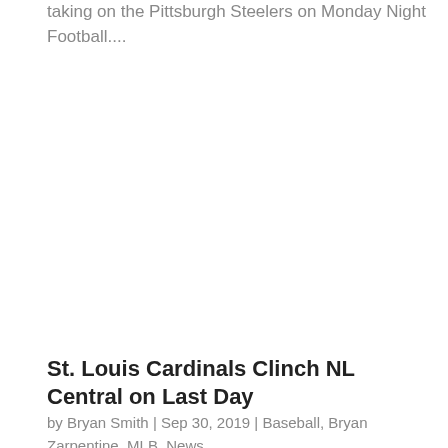taking on the Pittsburgh Steelers on Monday Night Football....
St. Louis Cardinals Clinch NL Central on Last Day
by Bryan Smith | Sep 30, 2019 | Baseball, Bryan Zarpentine, MLB, News